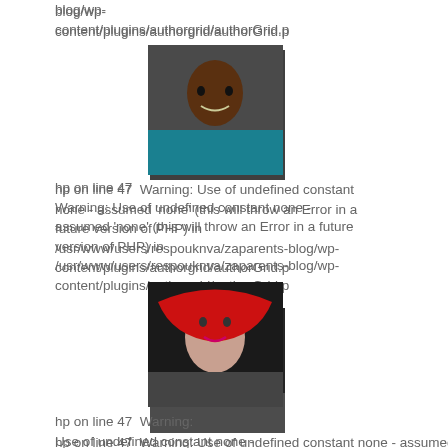blog/wp-content/plugins/authorgrid/authorGrid.p
[Figure (photo): Portrait photo of a dark-skinned man smiling, wearing teal shirt]
hp on line 47 Warning: Use of undefined constant none - assumed 'none' (this will throw an Error in a future version of PHP) in /usr/www/users/respouknva/zaparents-blog/wp-content/plugins/authorgrid/authorGrid.p
[Figure (photo): Portrait photo of a woman with red hair, smiling]
hp on line 47 Warning: Use of undefined constant none - assumed 'none' (this will throw an Error in a future version of PHP) in /usr/www/users/respouknva/zaparents-blog/wp-content/plugins/authorgrid/authorGrid.p
[Figure (photo): Photo of people outdoors, partially visible at bottom]